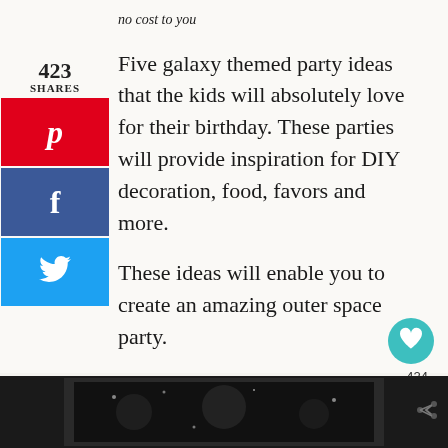no cost to you
Five galaxy themed party ideas that the kids will absolutely love for their birthday. These parties will provide inspiration for DIY decoration, food, favors and more.
These ideas will enable you to create an amazing outer space party.
423
SHARES
[Figure (infographic): Social sharing sidebar with Pinterest (red), Facebook (blue), Twitter (light blue) buttons]
424
[Figure (photo): Dark strip at bottom showing a dark space/galaxy themed image with stars]